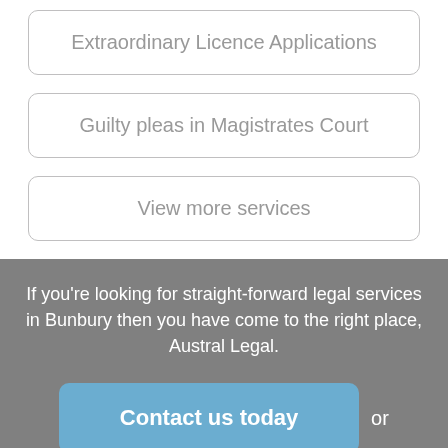Extraordinary Licence Applications
Guilty pleas in Magistrates Court
View more services
If you’re looking for straight-forward legal services in Bunbury then you have come to the right place, Austral Legal.
Contact us today
or
Book an appointment